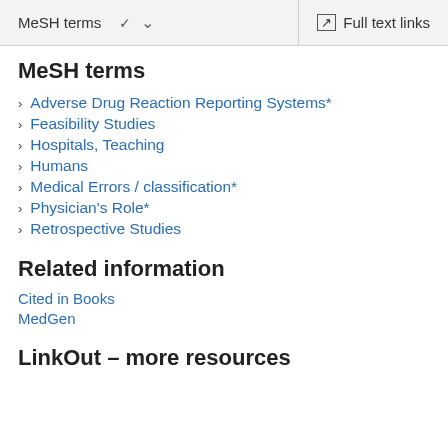MeSH terms   ∨   Full text links
MeSH terms
Adverse Drug Reaction Reporting Systems*
Feasibility Studies
Hospitals, Teaching
Humans
Medical Errors / classification*
Physician's Role*
Retrospective Studies
Related information
Cited in Books
MedGen
LinkOut – more resources